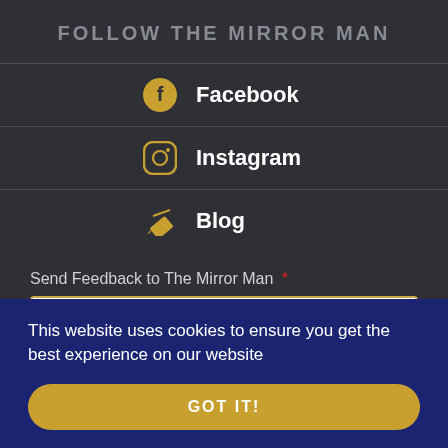FOLLOW THE MIRROR MAN
Facebook
Instagram
Blog
Send Feedback to The Mirror Man *
Optionally anonymous message
This website uses cookies to ensure you get the best experience on our website
GOT IT!